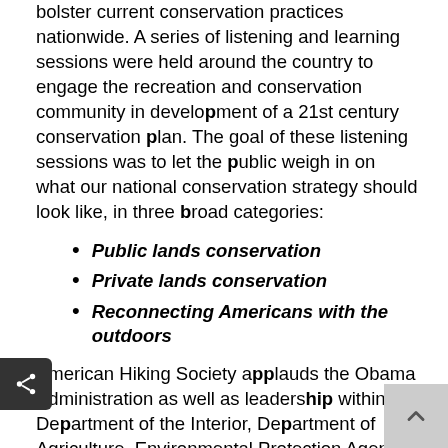bolster current conservation practices nationwide. A series of listening and learning sessions were held around the country to engage the recreation and conservation community in development of a 21st century conservation plan. The goal of these listening sessions was to let the public weigh in on what our national conservation strategy should look like, in three broad categories:
Public lands conservation
Private lands conservation
Reconnecting Americans with the outdoors
American Hiking Society applauds the Obama Administration as well as leadership within the Department of the Interior, Department of Agriculture, Environmental Protection Agency, and the Council on Environmental Quality for their efforts. American Hiking Society programs and partnerships have been contributing to the